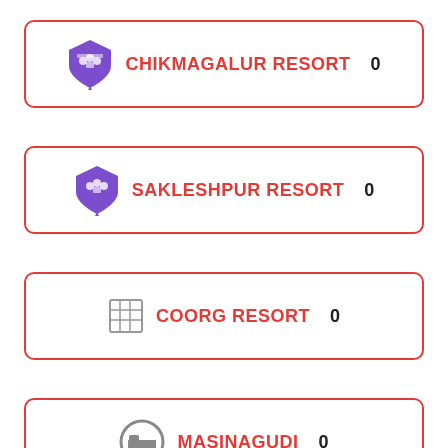CHIKMAGALUR RESORT 0
SAKLESHPUR RESORT 0
COORG RESORT 0
MASINAGUDI 0
DANDELI 0